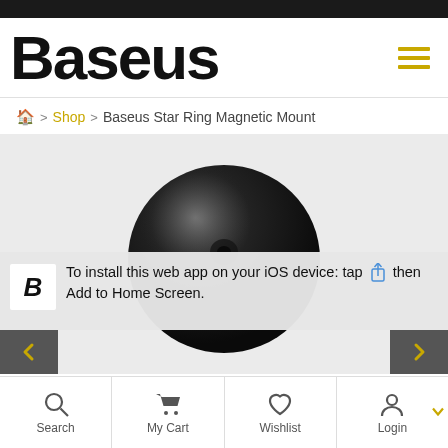[Figure (logo): Baseus brand logo in large bold black text with hamburger menu icon in yellow on the right]
🏠 > Shop > Baseus Star Ring Magnetic Mount
[Figure (photo): Black spherical Baseus Star Ring Magnetic Mount product on light grey background]
To install this web app on your iOS device: tap [share icon] then Add to Home Screen.
[Figure (infographic): Bottom navigation bar with Search, My Cart, Wishlist, and Login icons]